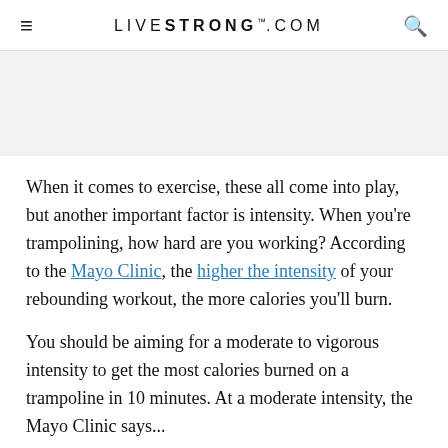LIVESTRONG.COM
[Figure (other): Gray advertisement banner placeholder area]
When it comes to exercise, these all come into play, but another important factor is intensity. When you're trampolining, how hard are you working? According to the Mayo Clinic, the higher the intensity of your rebounding workout, the more calories you'll burn.
You should be aiming for a moderate to vigorous intensity to get the most calories burned on a trampoline in 10 minutes. At a moderate intensity, the Mayo Clinic says...